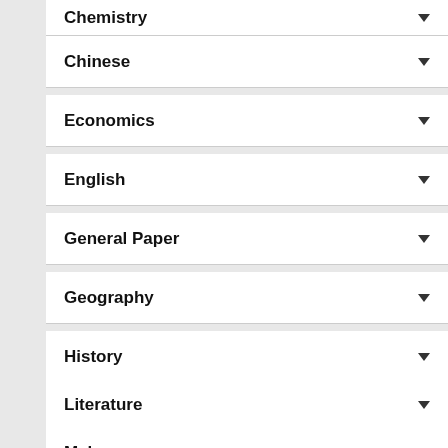Chemistry
Chinese
Economics
English
General Paper
Geography
History
Literature
Malay
Math
Physics